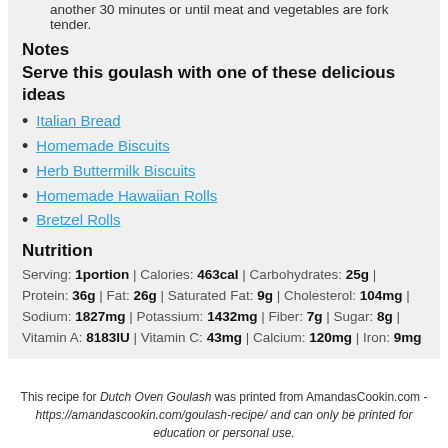another 30 minutes or until meat and vegetables are fork tender.
Notes
Serve this goulash with one of these delicious ideas
Italian Bread
Homemade Biscuits
Herb Buttermilk Biscuits
Homemade Hawaiian Rolls
Bretzel Rolls
Nutrition
Serving: 1portion | Calories: 463cal | Carbohydrates: 25g | Protein: 36g | Fat: 26g | Saturated Fat: 9g | Cholesterol: 104mg | Sodium: 1827mg | Potassium: 1432mg | Fiber: 7g | Sugar: 8g | Vitamin A: 8183IU | Vitamin C: 43mg | Calcium: 120mg | Iron: 9mg
This recipe for Dutch Oven Goulash was printed from AmandasCookin.com - https://amandascookin.com/goulash-recipe/ and can only be printed for education or personal use.